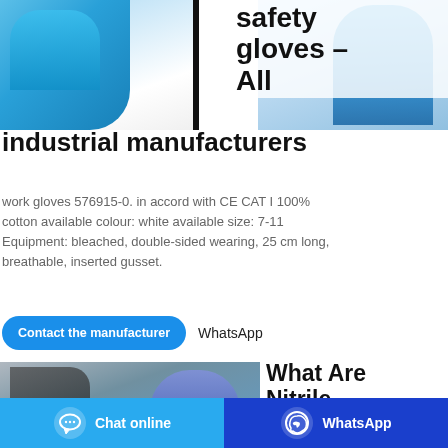[Figure (photo): Top image showing hands wearing blue safety gloves, split view with a black bar in center]
safety gloves – All industrial manufacturers
work gloves 576915-0. in accord with CE CAT I 100% cotton available colour: white available size: 7-11 Equipment: bleached, double-sided wearing, 25 cm long, breathable, inserted gusset.
Contact the manufacturer   WhatsApp
[Figure (photo): Person in dark clothing wearing blue nitrile gloves, raising hand]
What Are Nitrile Gl…
Chat online
WhatsApp